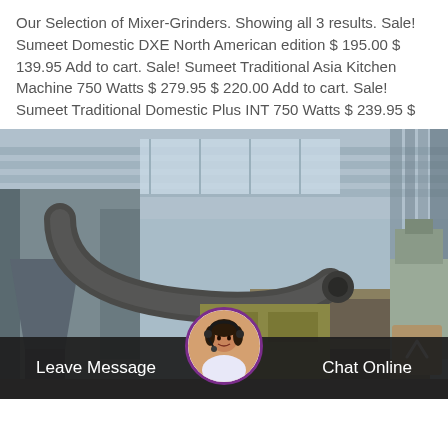Our Selection of Mixer-Grinders. Showing all 3 results. Sale! Sumeet Domestic DXE North American edition $ 195.00 $ 139.95 Add to cart. Sale! Sumeet Traditional Asia Kitchen Machine 750 Watts $ 279.95 $ 220.00 Add to cart. Sale! Sumeet Traditional Domestic Plus INT 750 Watts $ 239.95 $
[Figure (photo): Industrial mixer-grinder machinery inside a factory building with metal ducts and pipes, corrugated metal roof, viewed from below at an angle.]